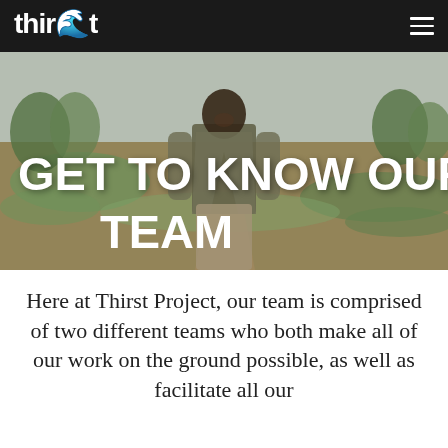thirst PROJECT
[Figure (photo): A smiling man standing in a green field, wearing a jacket, with trees and cloudy sky in background. Text overlay reads 'GET TO KNOW OUR TEAM' in large white bold uppercase letters.]
GET TO KNOW OUR TEAM
Here at Thirst Project, our team is comprised of two different teams who both make all of our work on the ground possible, as well as facilitate all our